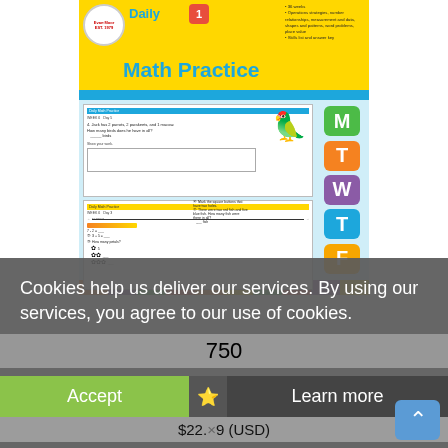[Figure (illustration): Evan-Moor Daily Math Practice Grade 1 book cover showing worksheet samples with a parrot illustration, day-of-week letter blocks (M, T, W, T, F), and colorful bottom stripe. Published by Evan-Moor Educational Publishers.]
Cookies help us deliver our services. By using our services, you agree to our use of cookies.
750
Accept
Learn more
$22.19 (USD)